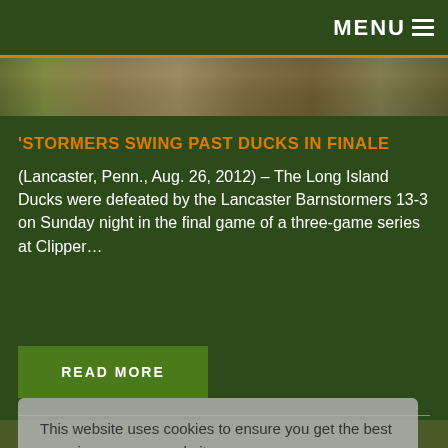MENU ≡
[Figure (photo): Top banner photo of a baseball stadium/crowd]
'STORMERS SWING PAST DUCKS IN FINALE
(Lancaster, Penn., Aug. 26, 2012) – The Long Island Ducks were defeated by the Lancaster Barnstormers 13-3 on Sunday night in the final game of a three-game series at Clipper…
READ MORE
This website uses cookies to ensure you get the best experience on our website.
Learn more
Got it!
[Figure (photo): Baseball pitcher in orange uniform mid-pitch on a baseball field]